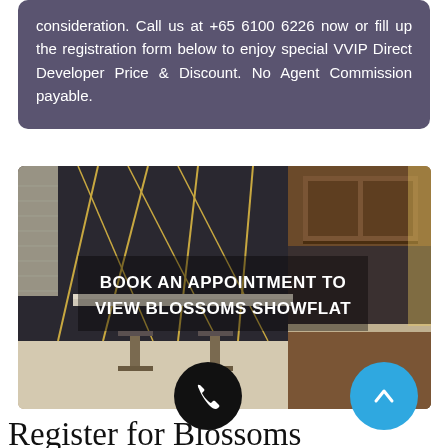consideration. Call us at +65 6100 6226 now or fill up the registration form below to enjoy special VVIP Direct Developer Price & Discount. No Agent Commission payable.
[Figure (photo): Interior photo of a showflat kitchen/dining area with dark paneled walls with gold accents, wooden cabinetry, bar stools, and modern kitchen. Overlay text reads: BOOK AN APPOINTMENT TO VIEW BLOSSOMS SHOWFLAT]
Register for Blossoms